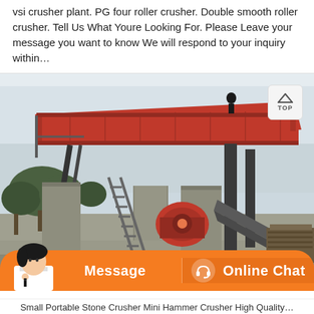VSI crusher plant. PG four roller crusher. Double smooth roller crusher. Tell Us What Youre Looking For. Please Leave your message you want to know We will respond to your inquiry within…
[Figure (photo): Photograph of a large industrial crusher/screening plant installed outdoors on a concrete foundation, with a red painted vibrating screen structure elevated on steel supports, ladders, and a jaw crusher visible underneath. Trees and an overcast sky are in the background. A 'TOP' navigation button is overlaid in the top right corner of the image.]
[Figure (infographic): Customer service chat bar at the bottom of the page with an orange background, featuring a customer service agent photo on the left, a 'Message' button on the left half, and an 'Online Chat' button with a headset icon on the right half.]
Small Portable Stone Crusher Mini Hammer Crusher High Quality…